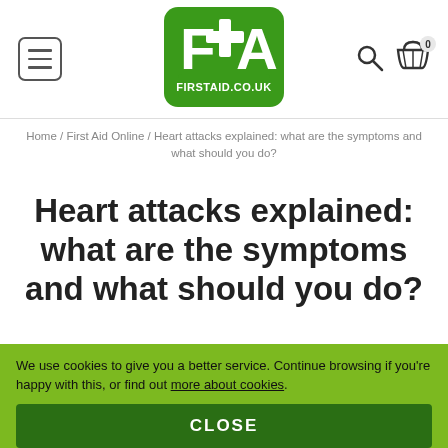[Figure (logo): FirstAid.co.uk logo — green rounded square with white F+A cross symbol and FIRSTAID.CO.UK text below]
Home / First Aid Online / Heart attacks explained: what are the symptoms and what should you do?
Heart attacks explained: what are the symptoms and what should you do?
We use cookies to give you a better service. Continue browsing if you're happy with this, or find out more about cookies.
CLOSE